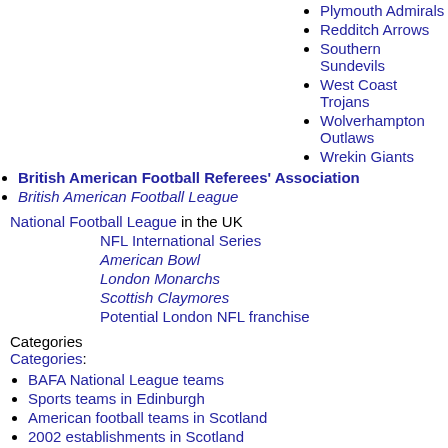Plymouth Admirals
Redditch Arrows
Southern Sundevils
West Coast Trojans
Wolverhampton Outlaws
Wrekin Giants
British American Football Referees' Association
British American Football League
National Football League in the UK
NFL International Series
American Bowl
London Monarchs
Scottish Claymores
Potential London NFL franchise
Categories
Categories:
BAFA National League teams
Sports teams in Edinburgh
American football teams in Scotland
2002 establishments in Scotland
American football teams established in 2002